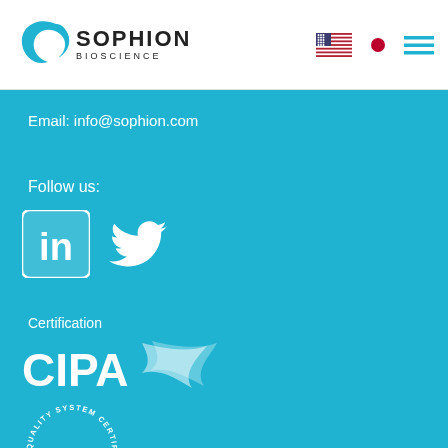[Figure (logo): Sophion Bioscience logo with teal C-shaped icon and text]
[Figure (infographic): Navigation icons: US flag, Japanese flag, hamburger menu]
Email: info@sophion.com
Follow us:
[Figure (logo): LinkedIn icon - white 'in' on teal rounded square]
[Figure (logo): Twitter bird icon in white]
Certification
[Figure (logo): CIPA certification logo in white]
[Figure (logo): Quality System Certification circular seal in white]